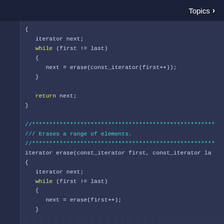Topics >
[Figure (screenshot): C++ code editor screenshot showing two erase() function implementations with syntax highlighting. Dark blue background with yellow keywords, cyan comments, and white identifiers.]